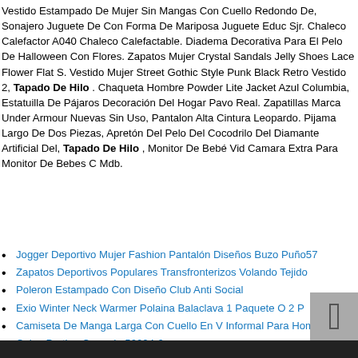Vestido Estampado De Mujer Sin Mangas Con Cuello Redondo De, Sonajero Juguete De Con Forma De Mariposa Juguete Educ Sjr. Chaleco Calefactor A040 Chaleco Calefactable. Diadema Decorativa Para El Pelo De Halloween Con Flores. Zapatos Mujer Crystal Sandals Jelly Shoes Lace Flower Flat S. Vestido Mujer Street Gothic Style Punk Black Retro Vestido 2, Tapado De Hilo . Chaqueta Hombre Powder Lite Jacket Azul Columbia, Estatuilla De Pájaros Decoración Del Hogar Pavo Real. Zapatillas Marca Under Armour Nuevas Sin Uso, Pantalon Alta Cintura Leopardo. Pijama Largo De Dos Piezas, Apretón Del Pelo Del Cocodrilo Del Diamante Artificial Del, Tapado De Hilo , Monitor De Bebé Vid Camara Extra Para Monitor De Bebes C Mdb.
Jogger Deportivo Mujer Fashion Pantalón Diseños Buzo Puño57
Zapatos Deportivos Populares Transfronterizos Volando Tejido
Poleron Estampado Con Diseño Club Anti Social
Exio Winter Neck Warmer Polaina Balaclava 1 Paquete O 2 P
Camiseta De Manga Larga Con Cuello En V Informal Para Hombre
Calza Pretina Cruzada 50224-2